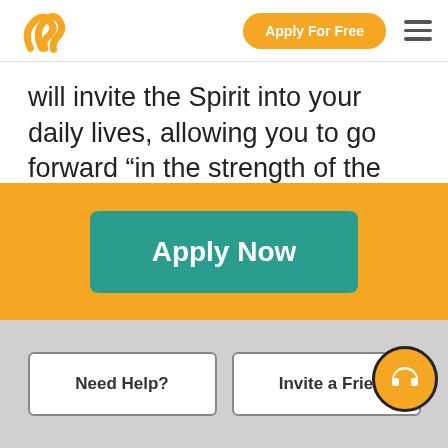Apply For Free
will invite the Spirit into your daily lives, allowing you to go forward “in the strength of the Lord” and accomplish every worthy goal. In the name of Jesus Christ, amen.
Apply Now
Need Help?
Invite a Frie...